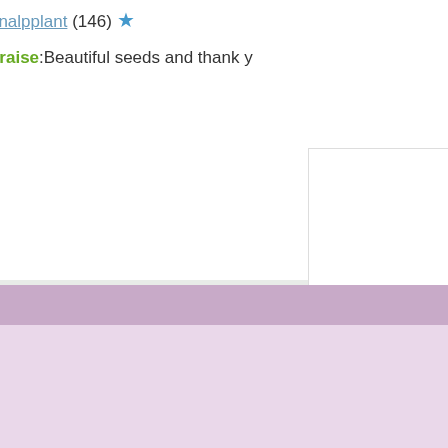Tnalpplant (146) ★
Praise:Beautiful seeds and thank y
[ My...
[ Add ...
[ S...
[ All...
U
Your